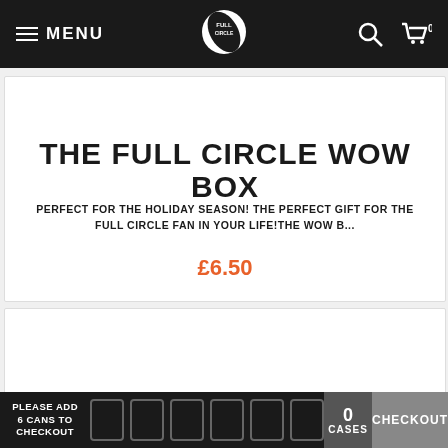MENU | [Logo] | [Search] | [Cart] 0
THE FULL CIRCLE WOW BOX
PERFECT FOR THE HOLIDAY SEASON! THE PERFECT GIFT FOR THE FULL CIRCLE FAN IN YOUR LIFE!THE WOW B...
£6.50
GIFT PACK WRAP
PLEASE ADD 6 CANS TO CHECKOUT | [can icons] | 0 CASES | CHECKOUT